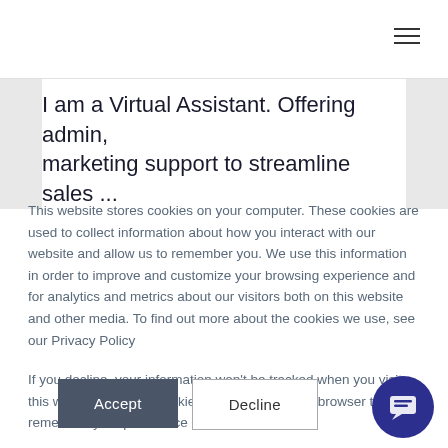☰ (navigation menu icon)
I am a Virtual Assistant. Offering admin, marketing support to streamline sales ...
This website stores cookies on your computer. These cookies are used to collect information about how you interact with our website and allow us to remember you. We use this information in order to improve and customize your browsing experience and for analytics and metrics about our visitors both on this website and other media. To find out more about the cookies we use, see our Privacy Policy
If you decline, your information won't be tracked when you visit this website. A single cookie will be used in your browser to remember your preference not to be tracked.
Accept
Decline